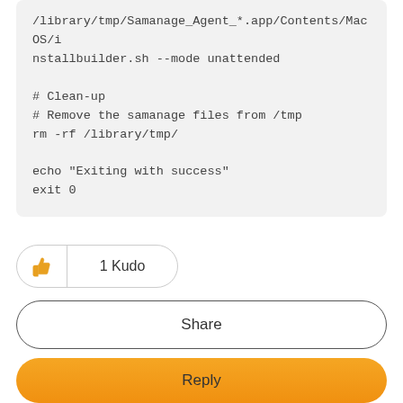/library/tmp/Samanage_Agent_*.app/Contents/MacOS/installbuilder.sh --mode unattended

# Clean-up
# Remove the samanage files from /tmp
rm -rf /library/tmp/

echo "Exiting with success"
exit 0
[Figure (other): Kudo button showing thumbs up icon and '1 Kudo' count]
Share
Reply